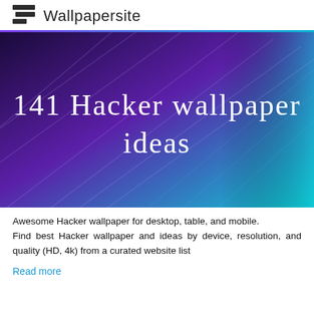Wallpapersite
[Figure (illustration): Hero banner with purple-to-teal gradient background and diagonal light streaks. Large white text reads '141 Hacker wallpaper ideas' centered in the image.]
Awesome Hacker wallpaper for desktop, table, and mobile.
Find best Hacker wallpaper and ideas by device, resolution, and quality (HD, 4k) from a curated website list
Read more